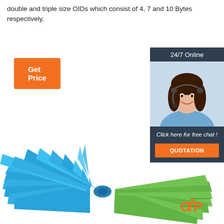double and triple size OIDs which consist of 4, 7 and 10 Bytes respectively.
[Figure (other): Orange 'Get Price' button]
[Figure (other): 24/7 Online chat widget with customer service agent photo, 'Click here for free chat!' text, and orange QUOTATION button]
[Figure (photo): Product photo of blue and green plastic cable ties / security seals bundled together, with TOP logo in bottom right]